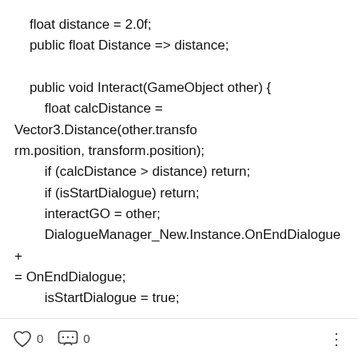float distance = 2.0f;
    public float Distance => distance;

    public void Interact(GameObject other) {
        float calcDistance = Vector3.Distance(other.transform.position, transform.position);
        if (calcDistance > distance) return;
        if (isStartDialogue) return;
        interactGO = other;
        DialogueManager_New.Instance.OnEndDialogue += OnEndDialogue;
        isStartDialogue = true;

        DialogueManager_New.Instance.StartDialogue(dia
    ...
0  0  ⋮